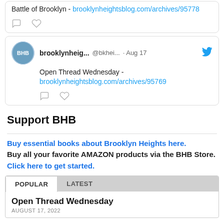Battle of Brooklyn - brooklynheightsblog.com/archives/95778
[Figure (screenshot): Tweet from brooklynheig... @bkhei... Aug 17 with Twitter bird icon. Text: Open Thread Wednesday - brooklynheightsblog.com/archives/95769. Comment and heart icons below.]
Support BHB
Buy essential books about Brooklyn Heights here. Buy all your favorite AMAZON products via the BHB Store. Click here to get started.
POPULAR | LATEST
Open Thread Wednesday
AUGUST 17, 2022